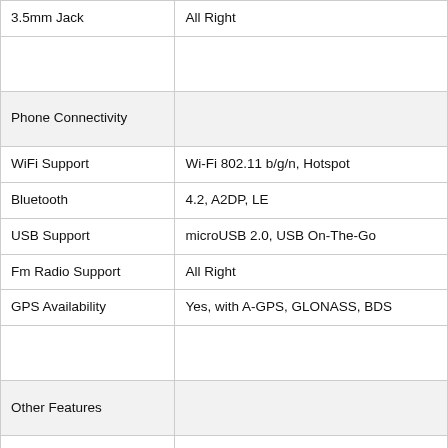| Feature | Value |
| --- | --- |
| 3.5mm Jack | All Right |
|  |  |
| Phone Connectivity |  |
| WiFi Support | Wi-Fi 802.11 b/g/n, Hotspot |
| Bluetooth | 4.2, A2DP, LE |
| USB Support | microUSB 2.0, USB On-The-Go |
| Fm Radio Support | All Right |
| GPS Availability | Yes, with A-GPS, GLONASS, BDS |
|  |  |
| Other Features |  |
| Sensors | Accelerometer, proximity |
| Messaging | SMS(threaded view), MMS, Email |
| Browser | HTML5 (hypertext markup language) |
| Java Availability | Not At All |